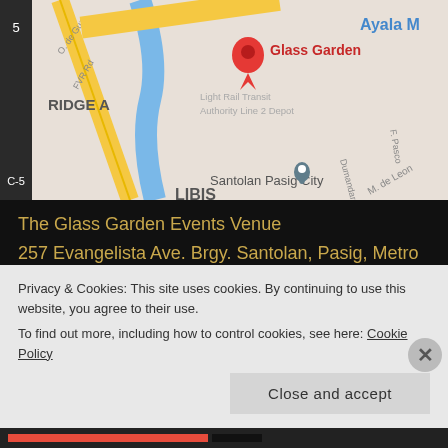[Figure (map): Google Maps screenshot showing Glass Garden location in Santolan, Pasig City near Libis, with a red location pin labeled 'Glass Garden' and a grey pin for 'Santolan Pasig City'. Yellow roads, blue river, Ayala M visible.]
The Glass Garden Events Venue
257 Evangelista Ave. Brgy. Santolan, Pasig, Metro Manila 1610
(632) 345 67 93
Monday – Saturday
9:00 AM – 5:00 PM
Privacy & Cookies: This site uses cookies. By continuing to use this website, you agree to their use.
To find out more, including how to control cookies, see here: Cookie Policy
Close and accept